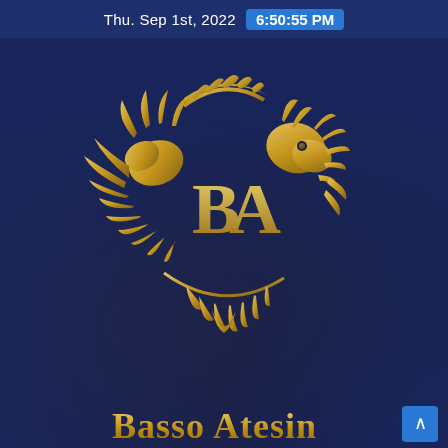Thu. Sep 1st, 2022  6:50:55 PM
[Figure (logo): Basso Atesino company logo: golden dragon-phoenix wreath encircling stylized 'BA' monogram letters in gold, on a dark navy blue background with blurred hands/keyboard photo overlay]
Basso Atesino